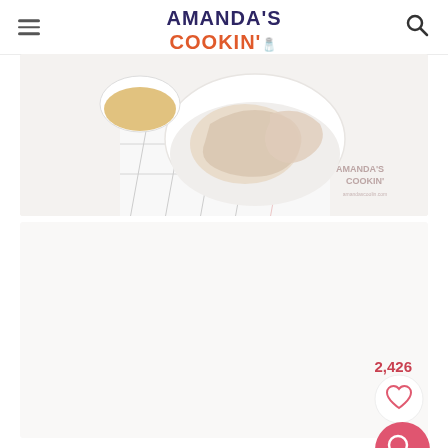Amanda's Cookin' — Easy Family Friendly Recipes
[Figure (photo): Top-down view of raw chicken pieces in a white bowl, with a small glass bowl of seasoning/spice beside it, on a white cloth with grid pattern. Amanda's Cookin' watermark visible.]
[Figure (photo): Lower content area (largely blank/light) with save count 2,426, a heart/save button, and a pink magnifying glass search button in the lower right.]
2,426